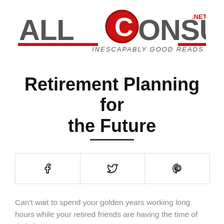[Figure (logo): AllConsuming.net logo — large bold grey text 'ALLCONSUMING' with a red stylized 'C', red accent bars, and italic tagline 'INESCAPABLY GOOD READS', with '.NET' in red superscript]
Retirement Planning for the Future
[Figure (infographic): Social share buttons bar with Facebook (f), Twitter (bird), and Pinterest (P) icons, separated by vertical lines inside a bordered rectangle]
Can't wait to spend your golden years working long hours while your retired friends are having the time of their lives?